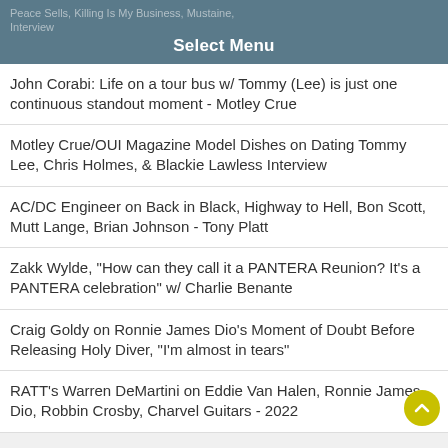Peace Sells, Killing Is My Business, Mustaine, Interview
Select Menu
John Corabi: Life on a tour bus w/ Tommy (Lee) is just one continuous standout moment - Motley Crue
Motley Crue/OUI Magazine Model Dishes on Dating Tommy Lee, Chris Holmes, & Blackie Lawless Interview
AC/DC Engineer on Back in Black, Highway to Hell, Bon Scott, Mutt Lange, Brian Johnson - Tony Platt
Zakk Wylde, "How can they call it a PANTERA Reunion? It's a PANTERA celebration" w/ Charlie Benante
Craig Goldy on Ronnie James Dio's Moment of Doubt Before Releasing Holy Diver, "I'm almost in tears"
RATT's Warren DeMartini on Eddie Van Halen, Ronnie James Dio, Robbin Crosby, Charvel Guitars - 2022